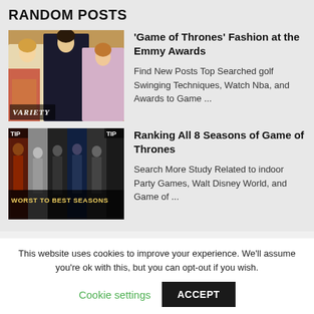RANDOM POSTS
[Figure (photo): Three women in evening gowns at the Emmy Awards, with VARIETY watermark]
'Game of Thrones' Fashion at the Emmy Awards
Find New Posts Top Searched golf Swinging Techniques, Watch Nba, and Awards to Game ...
[Figure (photo): Composite image showing characters from all 8 seasons of Game of Thrones with text 'WORST TO BEST SEASONS']
Ranking All 8 Seasons of Game of Thrones
Search More Study Related to indoor Party Games, Walt Disney World, and Game of ...
This website uses cookies to improve your experience. We'll assume you're ok with this, but you can opt-out if you wish.
Cookie settings   ACCEPT